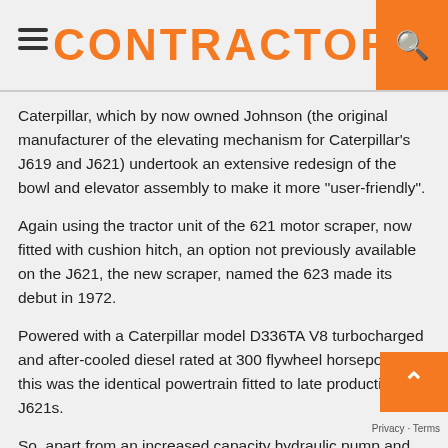CONTRACTOR
Caterpillar, which by now owned Johnson (the original manufacturer of the elevating mechanism for Caterpillar's J619 and J621) undertook an extensive redesign of the bowl and elevator assembly to make it more "user-friendly".
Again using the tractor unit of the 621 motor scraper, now fitted with cushion hitch, an option not previously available on the J621, the new scraper, named the 623 made its debut in 1972.
Powered with a Caterpillar model D336TA V8 turbocharged and after-cooled diesel rated at 300 flywheel horsepower, this was the identical powertrain fitted to late production J621s.
So, apart from an increased capacity hydraulic pump and tank, the addition of cushion hitch, all the 'new' parts lay in the elev— scraper.